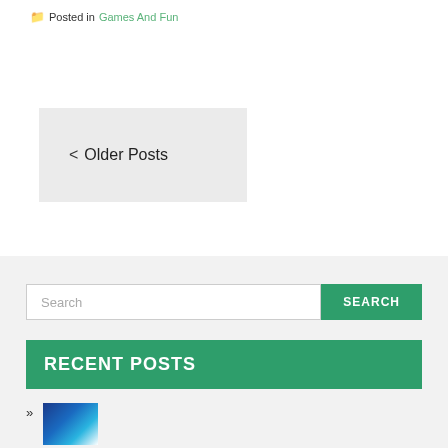Posted in Games And Fun
< Older Posts
Search
RECENT POSTS
»